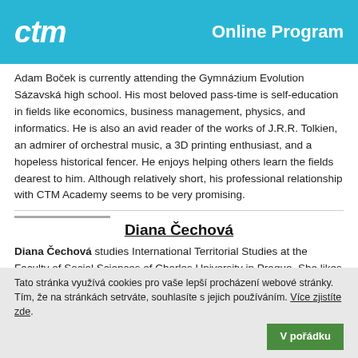ctm  Online Program
Adam Boček is currently attending the Gymnázium Evolution Sázavská high school. His most beloved pass-time is self-education in fields like economics, business management, physics, and informatics. He is also an avid reader of the works of J.R.R. Tolkien, an admirer of orchestral music, a 3D printing enthusiast, and a hopeless historical fencer. He enjoys helping others learn the fields dearest to him. Although relatively short, his professional relationship with CTM Academy seems to be very promising.
Diana Čechová
Diana Čechová studies International Territorial Studies at the Faculty of Social Sciences of Charles University in Prague. She likes to travel, volunteer and participate in various projects. With CTM, she has been
Tato stránka využívá cookies pro vaše lepší procházení webové stránky. Tím, že na stránkách setrváte, souhlasíte s jejich používáním. Více zjistíte zde.  V pořádku